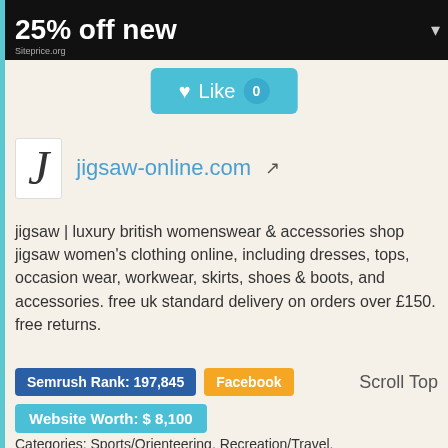[Figure (screenshot): Ad banner with '25% off new' text on black background with dropdown arrow and Siteprice.org watermark]
[Figure (infographic): Teal 'Like 0' button]
J   jigsaw-online.com ↗
jigsaw | luxury british womenswear & accessories shop jigsaw women's clothing online, including dresses, tops, occasion wear, workwear, skirts, shoes & boots, and accessories. free uk standard delivery on orders over £150. free returns.
Semrush Rank: 197,845   Facebook   Scroll Top
Website Worth: $ 8,100
Categories: Sports/Orienteering, Recreation/Travel, Society/Subcultures, Fashion/Beauty, Shopping
Is it similar?   👍 Yes  0   👎 No  0